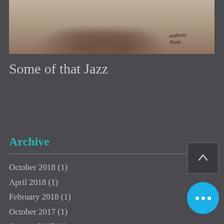[Figure (photo): Sepia-toned vintage photograph showing feet/legs with a handwritten signature in the lower right]
Some of that Jazz
Archive
October 2018 (1)
April 2018 (1)
February 2018 (1)
October 2017 (1)
January 2017 (1)
July 2016 (1)